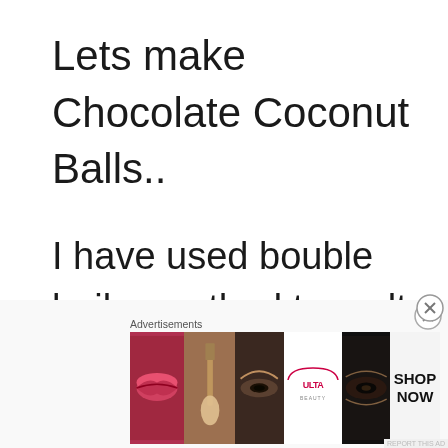Lets make Chocolate Coconut Balls..
I have used bouble boiler method to melt the dark chocolate. You can melt in microwave too. For double boiler method, take some water in a
[Figure (illustration): Advertisement banner for Ulta Beauty showing makeup-related photos (lips with lipstick, makeup brush, eye with eyeshadow) alongside the Ulta logo and a 'SHOP NOW' call to action button. A close (X) button appears in the top right of the ad area.]
Advertisements